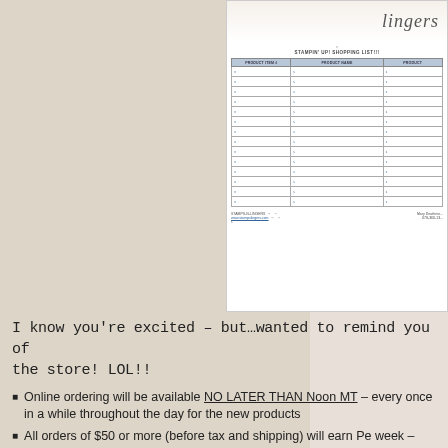[Figure (other): Stampin' Up shopping list template form with floral header reading 'lingers', a table with columns PRODUCT ITEM #, PRODUCT NAME, PRODUCT (price), and rows for items, plus footer with STAMPS-N-LINGERS contact info and www.stampslingers.com and Mary Deatherag... 678-360-13...]
I know you're excited – but…wanted to remind you of a the store! LOL!!
Online ordering will be available NO LATER THAN Noon MT – every once in a while throughout the day for the new products
All orders of $50 or more (before tax and shipping) will earn Pe week – you'll get DOUBLE PEPPERMINTS!
All orders of $150 or more receive Stampin' Rewards – see h catalog or HERE online.